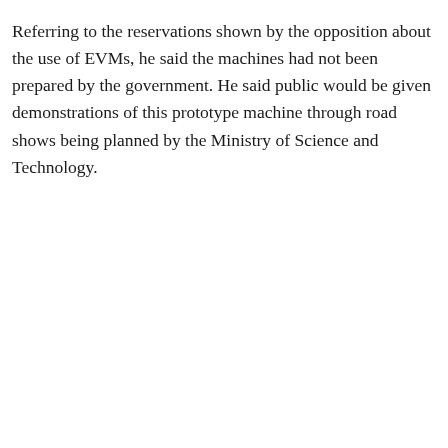Referring to the reservations shown by the opposition about the use of EVMs, he said the machines had not been prepared by the government. He said public would be given demonstrations of this prototype machine through road shows being planned by the Ministry of Science and Technology.